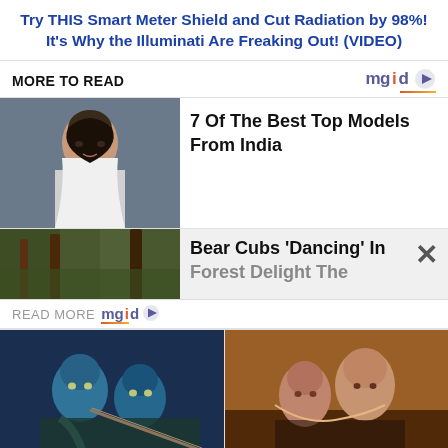Try THIS Smart Meter Shield and Cut Radiation by 98%! It's Why the Illuminati Are Freaking Out! (VIDEO)
MORE TO READ
[Figure (photo): Woman with dark hair in white top, promotional photo for article about top models from India]
7 Of The Best Top Models From India
[Figure (photo): Bear cubs in forest, partially visible article thumbnail]
Bear Cubs 'Dancing' In Forest Delight The
READ MORE
[Figure (photo): Avatar movie scene with blue Na'vi characters]
11 Greatest Special Effects Movies Of All Time
[Figure (photo): Titanic movie scene with Jack and Rose]
9 Movie Scenes That Got Re-Shot And Saved The Whole Movie